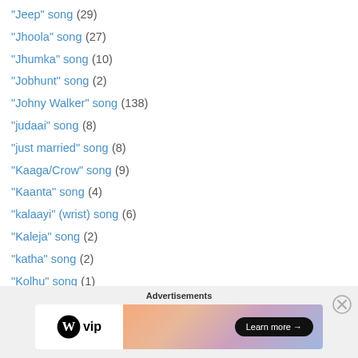"Jeep" song (29)
"Jhoola" song (27)
"Jhumka" song (10)
"Jobhunt" song (2)
"Johny Walker" song (138)
"judaai" song (8)
"just married" song (8)
"Kaaga/Crow" song (9)
"Kaanta" song (4)
"kalaayi" (wrist) song (6)
"Kaleja" song (2)
"katha" song (2)
"Kolhu" song (1)
"Lady In Distress" Song (1)
"Lady wooing her beau" song (1)
"Magic Performance" song (1)
Advertisements
[Figure (infographic): WordPress VIP advertisement banner with gradient background and Learn more button]